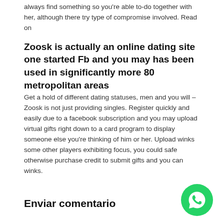always find something so you're able to-do together with her, although there try type of compromise involved. Read on
Zoosk is actually an online dating site one started Fb and you may has been used in significantly more 80 metropolitan areas
Get a hold of different dating statuses, men and you will – Zoosk is not just providing singles. Register quickly and easily due to a facebook subscription and you may upload virtual gifts right down to a card program to display someone else you're thinking of him or her. Upload winks some other players exhibiting focus, you could safe otherwise purchase credit to submit gifts and you can winks.
Enviar comentario
[Figure (logo): WhatsApp button icon - green circle with white phone handset]